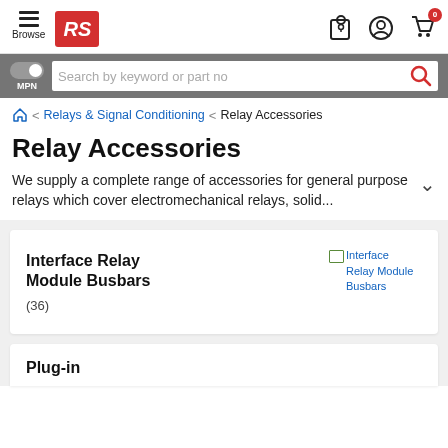RS Components - Browse
Search by keyword or part no
Relays & Signal Conditioning > Relay Accessories
Relay Accessories
We supply a complete range of accessories for general purpose relays which cover electromechanical relays, solid...
Interface Relay Module Busbars (36)
Plug-in